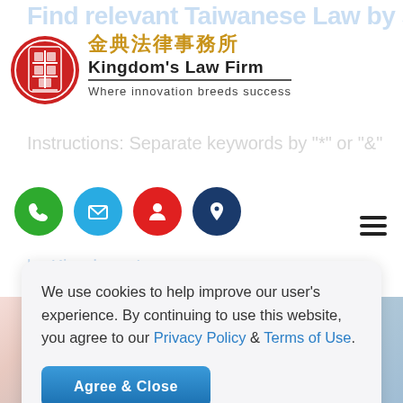[Figure (logo): Kingdom's Law Firm logo with red circular seal, Chinese characters 金典法律事務所, English name Kingdom's Law Firm, tagline Where innovation breeds success]
[Figure (other): Four circular icon buttons: green phone, cyan email, red person, navy location pin]
[Figure (other): Gradient background band in pink-blue tones]
We use cookies to help improve our user's experience. By continuing to use this website, you agree to our Privacy Policy & Terms of Use.
Agree & Close